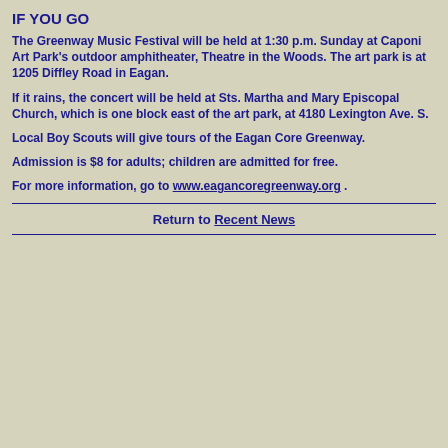IF YOU GO
The Greenway Music Festival will be held at 1:30 p.m. Sunday at Caponi Art Park's outdoor amphitheater, Theatre in the Woods. The art park is at 1205 Diffley Road in Eagan.
If it rains, the concert will be held at Sts. Martha and Mary Episcopal Church, which is one block east of the art park, at 4180 Lexington Ave. S.
Local Boy Scouts will give tours of the Eagan Core Greenway.
Admission is $8 for adults; children are admitted for free.
For more information, go to www.eagancoregreenway.org .
Return to Recent News